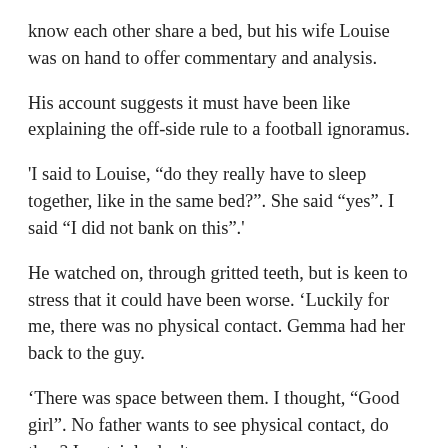know each other share a bed, but his wife Louise was on hand to offer commentary and analysis.
His account suggests it must have been like explaining the off-side rule to a football ignoramus.
'I said to Louise, “do they really have to sleep together, like in the same bed?”. She said “yes”. I said “I did not bank on this”.'
He watched on, through gritted teeth, but is keen to stress that it could have been worse. ‘Luckily for me, there was no physical contact. Gemma had her back to the guy.
‘There was space between them. I thought, “Good girl”. No father wants to see physical contact, do they? I certainly don't.